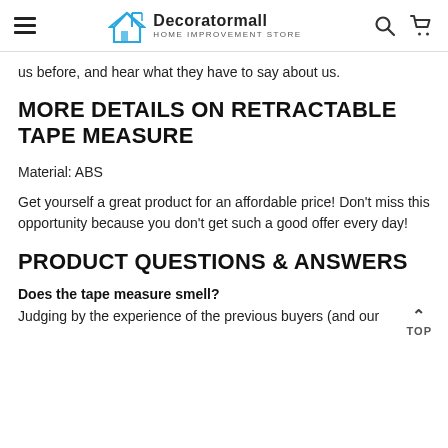Decoratormall HOME IMPROVEMENT STORE
us before, and hear what they have to say about us.
MORE DETAILS ON RETRACTABLE TAPE MEASURE
Material: ABS
Get yourself a great product for an affordable price! Don't miss this opportunity because you don't get such a good offer every day!
PRODUCT QUESTIONS & ANSWERS
Does the tape measure smell?
Judging by the experience of the previous buyers (and our